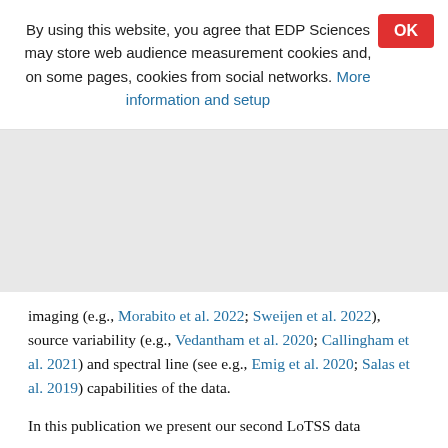By using this website, you agree that EDP Sciences may store web audience measurement cookies and, on some pages, cookies from social networks. More information and setup
imaging (e.g., Morabito et al. 2022; Swijen et al. 2022), source variability (e.g., Vedantham et al. 2020; Callingham et al. 2021) and spectral line (see e.g., Emig et al. 2020; Salas et al. 2019) capabilities of the data.
In this publication we present our second LoTSS data